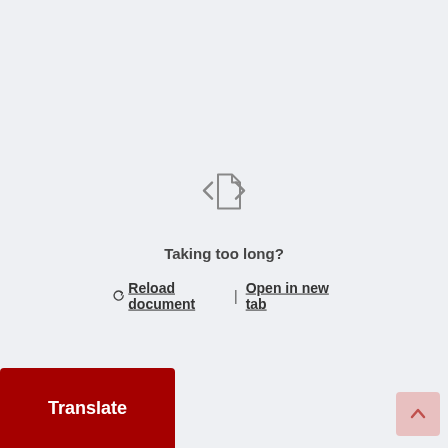[Figure (illustration): Document/code file icon with angle brackets on left and right sides, gray outline style]
Taking too long?
Reload document | Open in new tab
Translate
[Figure (illustration): Scroll to top button with upward arrow, pink/light red background]